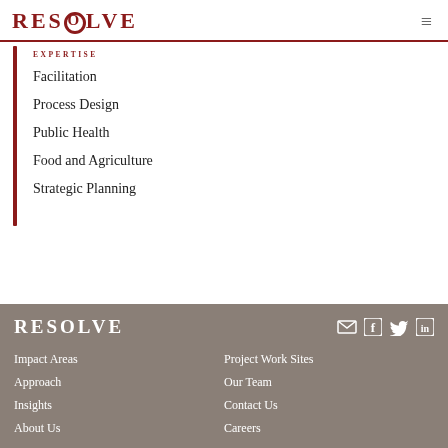RESOLVE
EXPERTISE
Facilitation
Process Design
Public Health
Food and Agriculture
Strategic Planning
RESOLVE | Impact Areas | Approach | Insights | About Us | Project Work Sites | Our Team | Contact Us | Careers
[Figure (logo): RESOLVE logo in footer with social media icons for email, Facebook, Twitter, LinkedIn]